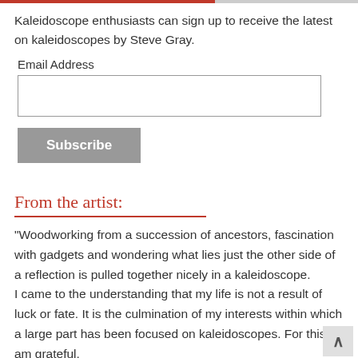Kaleidoscope enthusiasts can sign up to receive the latest on kaleidoscopes by Steve Gray.
Email Address
From the artist:
"Woodworking from a succession of ancestors, fascination with gadgets and wondering what lies just the other side of a reflection is pulled together nicely in a kaleidoscope.
I came to the understanding that my life is not a result of luck or fate. It is the culmination of my interests within which a large part has been focused on kaleidoscopes. For this I am grateful.